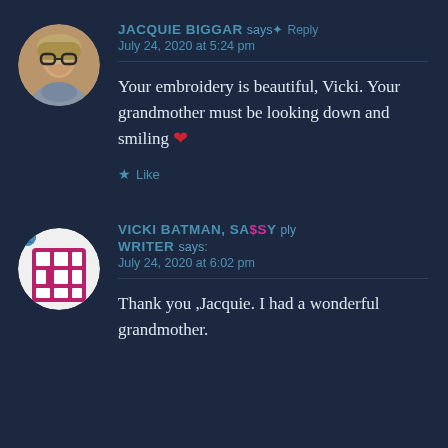JACQUIE BIGGAR says: Reply
July 24, 2020 at 5:24 pm
Your embroidery is beautiful, Vicki. Your grandmother must be looking down and smiling ❤
★ Like
VICKI BATMAN, SASSY WRITER says: Reply
July 24, 2020 at 6:02 pm
Thank you ,Jacquie. I had a wonderful grandmother.